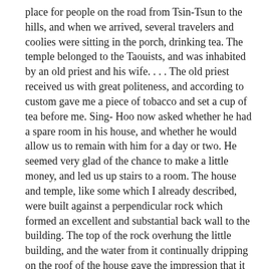place for people on the road from Tsin-Tsun to the hills, and when we arrived, several travelers and coolies were sitting in the porch, drinking tea. The temple belonged to the Taouists, and was inhabited by an old priest and his wife. . . . The old priest received us with great politeness, and according to custom gave me a piece of tobacco and set a cup of tea before me. Sing- Hoo now asked whether he had a spare room in his house, and whether he would allow us to remain with him for a day or two. He seemed very glad of the chance to make a little money, and led us up stairs to a room. The house and temple, like some which I already described, were built against a perpendicular rock which formed an excellent and substantial back wall to the building. The top of the rock overhung the little building, and the water from it continually dripping on the roof of the house gave the impression that it was raining.
“The stream of the Nine Windings flowed past the front of the temple. Numerous boats were plying up and down,